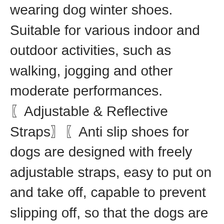wearing dog winter shoes. Suitable for various indoor and outdoor activities, such as walking, jogging and other moderate performances. 〖Adjustable & Reflective Straps〗〖Anti slip shoes for dogs are designed with freely adjustable straps, easy to put on and take off, capable to prevent slipping off, so that the dogs are not easy to produce resistance mood. At night, the reflective strips on the dog snow shoes can not only make your cute dog more secure, but also make it easier for you to find your dog. 〖Package & Superior Service〗: Including 4 anti-slip & reflective dog shoes for running. If you wish, please try to measure the size of your dog's paws. When the size and weight do not match, please purchase according to the size. If the shoes are big or small, please contact us and we will reply to you